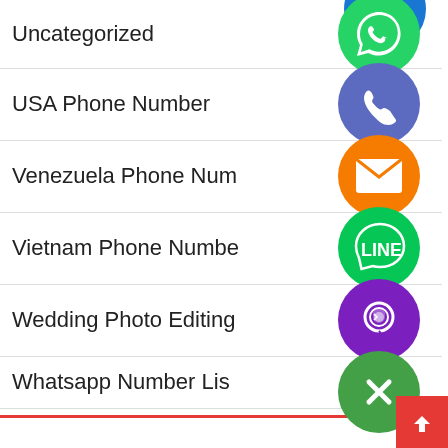Uncategorized
USA Phone Number
Venezuela Phone Number
Vietnam Phone Number
Wedding Photo Editing
Whatsapp Number List
বাংলাদেশ
বাংলাদেশ
[Figure (infographic): Overlapping social media / messaging app icons: partial blue circle at top, WhatsApp green icon, Viber/phone blue-purple icon, orange email/envelope icon, LINE green icon, Viber purple icon, green X/close icon]
Back to top button